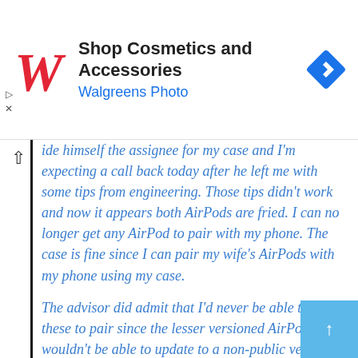[Figure (screenshot): Walgreens advertisement banner with red cursive 'W' logo, text 'Shop Cosmetics and Accessories' and 'Walgreens Photo' in blue, and a blue navigation diamond icon on the right.]
ide himself the assignee for my case and I'm expecting a call back today after he left me with some tips from engineering. Those tips didn't work and now it appears both AirPods are fried. I can no longer get any AirPod to pair with my phone. The case is fine since I can pair my wife's AirPods with my phone using my case.

The advisor did admit that I'd never be able to get these to pair since the lesser versioned AirPod wouldn't be able to update to a non-public version. He even said there's little documentation on it, and that what likely happened is when it was made, 2D3 was about to be released but ended up not coming out because of bugs.